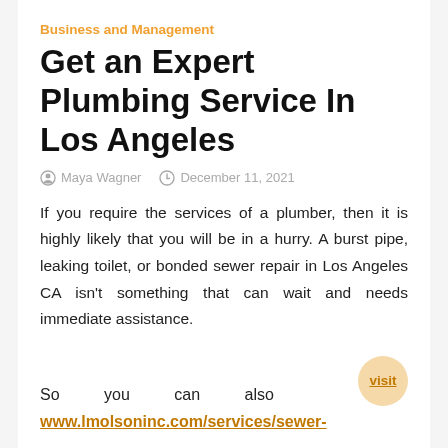Business and Management
Get an Expert Plumbing Service In Los Angeles
Maya Wagner   December 11, 2021
If you require the services of a plumber, then it is highly likely that you will be in a hurry. A burst pipe, leaking toilet, or bonded sewer repair in Los Angeles CA isn't something that can wait and needs immediate assistance.
So you can also visit www.lmolsoninc.com/services/sewer-